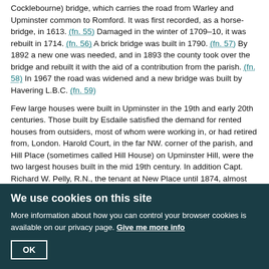Cocklebourne) bridge, which carries the road from Warley and Upminster common to Romford. It was first recorded, as a horse-bridge, in 1613. (fn. 55) Damaged in the winter of 1709–10, it was rebuilt in 1714. (fn. 56) A brick bridge was built in 1790. (fn. 57) By 1892 a new one was needed, and in 1893 the county took over the bridge and rebuilt it with the aid of a contribution from the parish. (fn. 58) In 1967 the road was widened and a new bridge was built by Havering L.B.C. (fn. 59)
Few large houses were built in Upminster in the 19th and early 20th centuries. Those built by Esdaile satisfied the demand for rented houses from outsiders, most of whom were working in, or had retired from, London. Harold Court, in the far NW. corner of the parish, and Hill Place (sometimes called Hill House) on Upminster Hill, were the two largest houses built in the mid 19th century. In addition Capt. Richard W. Pelly, R.N., the tenant at New Place until 1874, almost wholly rebuilt the east wing c. 1867. (fn. 60) Harold Court, slated and of white stock brick, was built c. 1868 in an Italianate style for W. R. Preston. (fn. 61) Preston was a solicitor, farmer, and speculative land developer, who in 1871 undertook to dispose of Brentwood's sewage on 30 a. of adjoining land. (fn. 62) He absconded, bankrupt, in 1881, and between 1885 and 1889 Harold Court was occupied by the Shoreditch children's home. (fn. 63) A branch of
We use cookies on this site
More information about how you can control your browser cookies is available on our privacy page. Give me more info